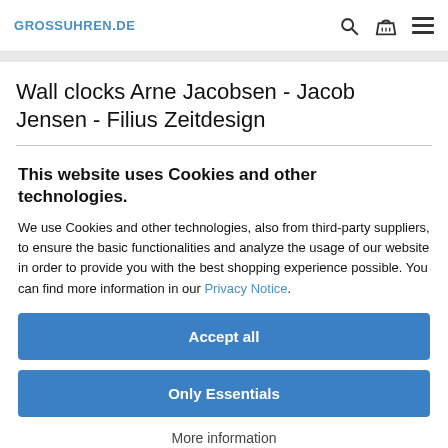GROSSUHREN.DE
Wall clocks Arne Jacobsen - Jacob Jensen - Filius Zeitdesign
This website uses Cookies and other technologies.
We use Cookies and other technologies, also from third-party suppliers, to ensure the basic functionalities and analyze the usage of our website in order to provide you with the best shopping experience possible. You can find more information in our Privacy Notice.
Accept all
Only Essentials
More information